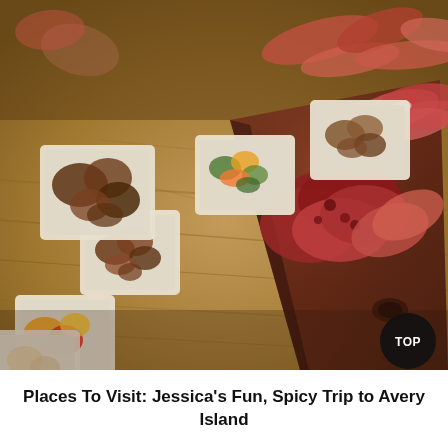[Figure (photo): A charcuterie spread photographed from a low angle on a rustic wooden table. Several small white square ceramic dishes contain various appetizers including peppers, marinated vegetables, and other tapas. A wooden cutting board holds sliced cured meats including salami and prosciutto. The scene is lit warmly.]
Places To Visit: Jessica's Fun, Spicy Trip to Avery Island